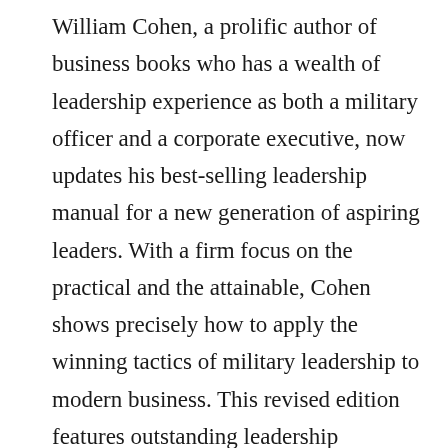William Cohen, a prolific author of business books who has a wealth of leadership experience as both a military officer and a corporate executive, now updates his best-selling leadership manual for a new generation of aspiring leaders. With a firm focus on the practical and the attainable, Cohen shows precisely how to apply the winning tactics of military leadership to modern business. This revised edition features outstanding leadership examples from Desert Storm and Bosnia, including the experiences of General Norman Schwarzkopf and General Colin Powell. Every concept and every technique is demonstrated by a real life example from battle and/or the boardroom. It also showcases the skills and drive of remarkable business leaders, such as Andy Grove (Chairman and CEO, Intel), Steven Speilberg, and Howard Schultz (CEO,